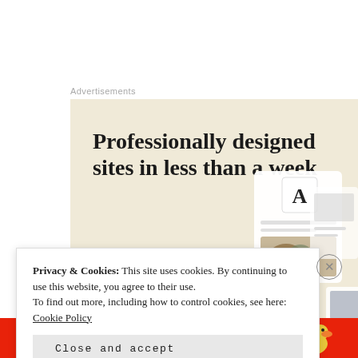Advertisements
[Figure (illustration): Advertisement banner with beige background showing 'Professionally designed sites in less than a week' headline, a green 'Explore options' button, and mockup images of website designs on the right side.]
Privacy & Cookies: This site uses cookies. By continuing to use this website, you agree to their use.
To find out more, including how to control cookies, see here:
Cookie Policy
Close and accept
[Figure (illustration): Bottom red banner with text 'email with more privacy.' and a duck logo on the right.]